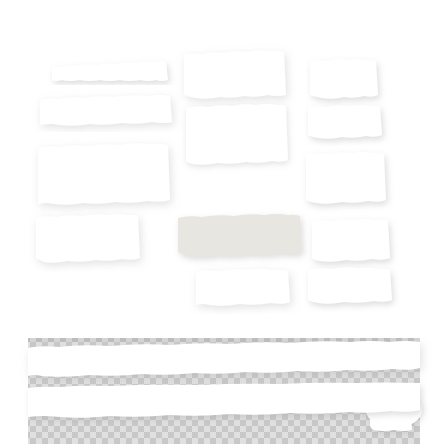REALISTIC LAYERED VECTOR
[Figure (illustration): Collection of realistic torn paper scraps with ragged edges and drop shadows arranged in a grid layout on white background, plus a checkered transparency background at the bottom showing a torn paper strip with curling corner]